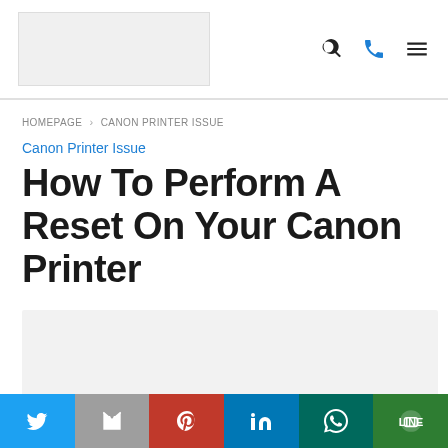Logo | Search | Phone | Menu
HOMEPAGE > CANON PRINTER ISSUE
Canon Printer Issue
How To Perform A Reset On Your Canon Printer
[Figure (photo): Featured image placeholder for the article]
Social share bar: Twitter, Gmail, Pinterest, LinkedIn, WhatsApp, Line